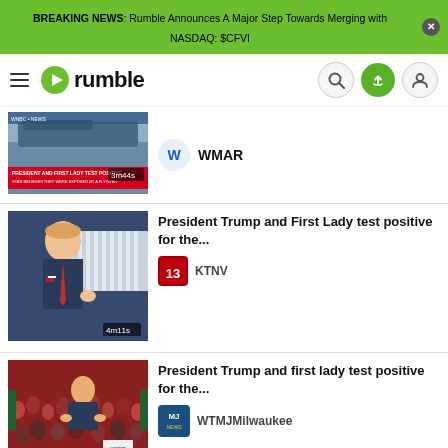BREAKING NEWS: Rumble Announces A Major Step Towards Merging with NASDAQ: $CFVI
[Figure (logo): Rumble logo with play button icon and navigation icons (search, upload, user)]
[Figure (screenshot): News thumbnail: PRESIDENT AND FIRST LADY TEST POSITIVE, 3m44s, WMAR channel]
WMAR
[Figure (photo): President Trump at podium with American flags, 4m11s duration badge]
President Trump and First Lady test positive for the...
KTNV
[Figure (photo): Trump at rally with crowd, PRESIDENT, FIRST LADY CONTRACT COVID-19, 2m29s]
President Trump and first lady test positive for the...
WTMJMilwaukee